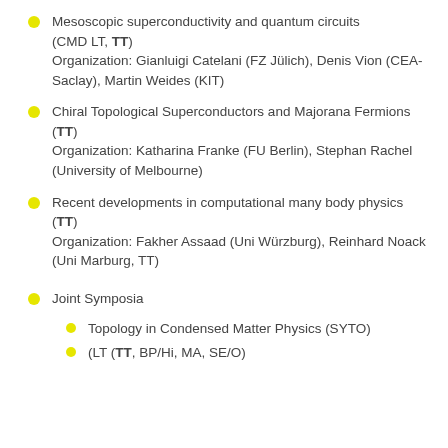Mesoscopic superconductivity and quantum circuits (CMD LT, TT)
Organization: Gianluigi Catelani (FZ Jülich), Denis Vion (CEA-Saclay), Martin Weides (KIT)
Chiral Topological Superconductors and Majorana Fermions (TT)
Organization: Katharina Franke (FU Berlin), Stephan Rachel (University of Melbourne)
Recent developments in computational many body physics (TT)
Organization: Fakher Assaad (Uni Würzburg), Reinhard Noack (Uni Marburg, TT)
Joint Symposia
Topology in Condensed Matter Physics (SYTO)
(LT (TT, BP/Hi, MA, SE/O)